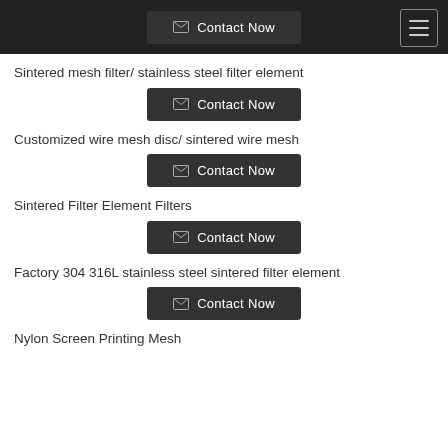Contact Now
Sintered mesh filter/ stainless steel filter element
Contact Now
Customized wire mesh disc/ sintered wire mesh
Contact Now
Sintered Filter Element Filters
Contact Now
Factory 304 316L stainless steel sintered filter element
Contact Now
Nylon Screen Printing Mesh